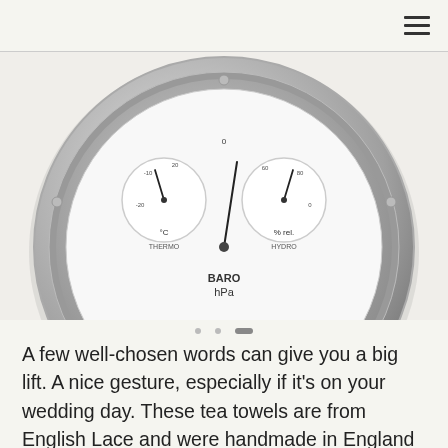[Figure (photo): A circular barometer/weather station gauge with chrome rim, showing three dials: THERMO (°C), BARO (hPa), and HYDRO (% rel.) with black needle hands on white faces.]
A few well-chosen words can give you a big lift. A nice gesture, especially if it's on your wedding day. These tea towels are from English Lace and were handmade in England by skilled weavers who use natural dyes. Each